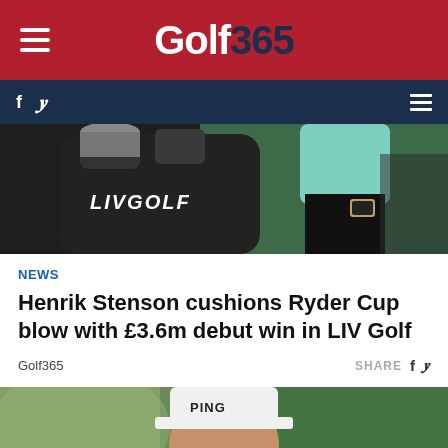Golf365
[Figure (photo): LIV Golf branded equipment/bag with a golfer wearing mint green top and black trousers in the background]
NEWS
Henrik Stenson cushions Ryder Cup blow with £3.6m debut win in LIV Golf
Golf365
[Figure (photo): Golfer wearing a white Ping cap and dark clothing, holding a golf club, with blurred green background]